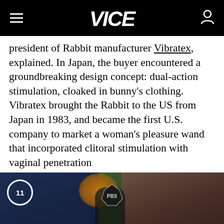VICE
president of Rabbit manufacturer Vibratex, explained. In Japan, the buyer encountered a groundbreaking design concept: dual-action stimulation, cloaked in bunny's clothing. Vibratex brought the Rabbit to the US from Japan in 1983, and became the first U.S. company to market a woman's pleasure wand that incorporated clitoral stimulation with vaginal penetration
[Figure (photo): Video thumbnail showing people running outdoors, with a timer overlay showing '11' in a circle on the bottom left, a small diamond-shaped logo in the center, and a mute icon on the bottom right.]